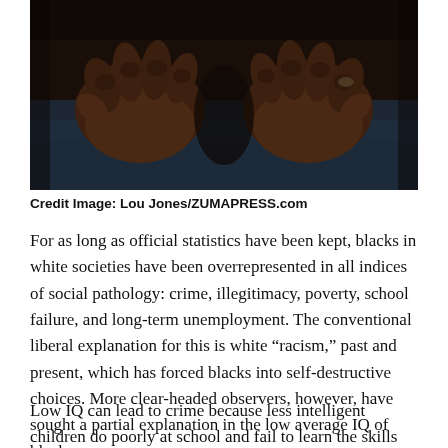[Figure (photo): Close-up photograph of dark-skinned hands with fingers curled, wearing dark blue clothing, dramatic lighting against dark background.]
Credit Image: Lou Jones/ZUMAPRESS.com
For as long as official statistics have been kept, blacks in white societies have been overrepresented in all indices of social pathology: crime, illegitimacy, poverty, school failure, and long-term unemployment. The conventional liberal explanation for this is white “racism,” past and present, which has forced blacks into self-destructive choices. More clear-headed observers, however, have sought a partial explanation in the low average IQ of blacks.
Low IQ can lead to crime because less intelligent children do poorly at school and fail to learn the skills needed to get well-